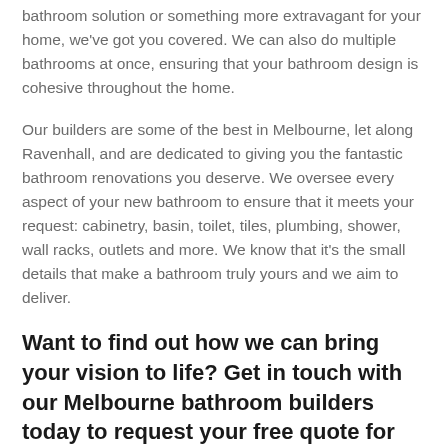bathroom solution or something more extravagant for your home, we've got you covered. We can also do multiple bathrooms at once, ensuring that your bathroom design is cohesive throughout the home.
Our builders are some of the best in Melbourne, let along Ravenhall, and are dedicated to giving you the fantastic bathroom renovations you deserve. We oversee every aspect of your new bathroom to ensure that it meets your request: cabinetry, basin, toilet, tiles, plumbing, shower, wall racks, outlets and more. We know that it's the small details that make a bathroom truly yours and we aim to deliver.
Want to find out how we can bring your vision to life? Get in touch with our Melbourne bathroom builders today to request your free quote for your project!